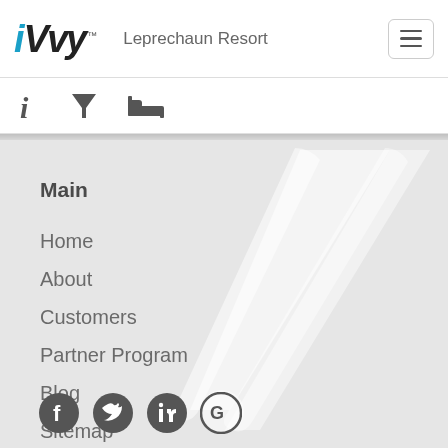iVvy — Leprechaun Resort
[Figure (screenshot): Navigation icon bar with info (i), filter (martini glass), and accommodation (bed) icons]
Main
Home
About
Customers
Partner Program
Blog
Sitemap
Contact
[Figure (illustration): Social media icons: Facebook, Twitter, LinkedIn, Google]